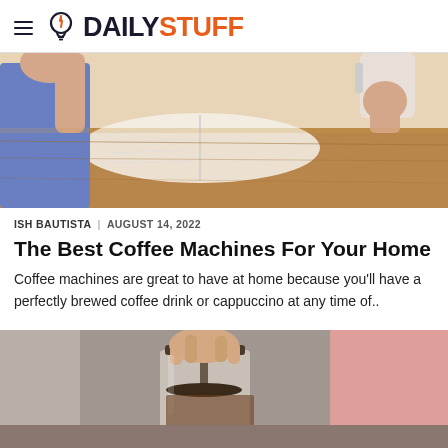DAILYSTUFF
[Figure (photo): Person holding a coffee cup with a book open on a wooden table, warm tones]
ISH BAUTISTA | AUGUST 14, 2022
The Best Coffee Machines For Your Home
Coffee machines are great to have at home because you'll have a perfectly brewed coffee drink or cappuccino at any time of..
[Figure (photo): Hand pressing down on a French press coffee maker with a glass jar, partial red background]